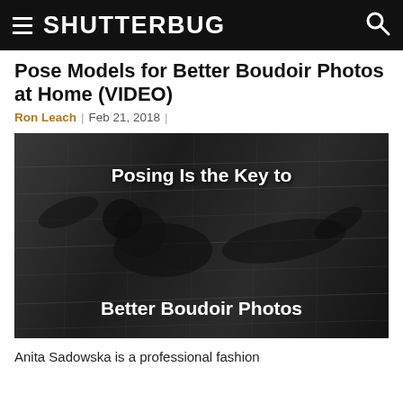SHUTTERBUG
Pose Models for Better Boudoir Photos at Home (VIDEO)
Ron Leach  |  Feb 21, 2018  |
[Figure (photo): Black and white overhead photo of a woman in lingerie posing on a wooden floor, with overlaid white bold text reading 'Posing Is the Key to Better Boudoir Photos']
Anita Sadowska is a professional fashion